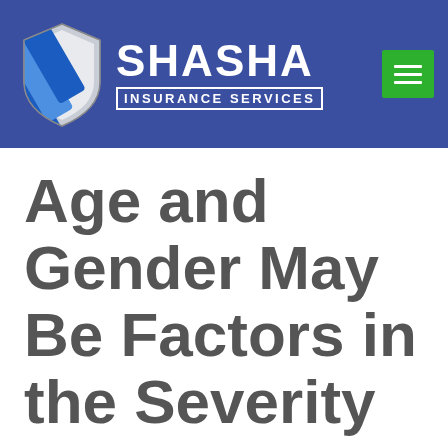[Figure (logo): Shasha Insurance Services logo with shield icon and navigation menu button on blue header bar]
Age and Gender May Be Factors in the Severity